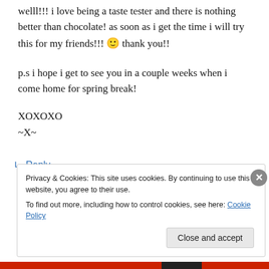welll!!! i love being a taste tester and there is nothing better than chocolate! as soon as i get the time i will try this for my friends!!! 🙂 thank you!!
p.s i hope i get to see you in a couple weeks when i come home for spring break!
XOXOXO
~X~
↳ Reply
Privacy & Cookies: This site uses cookies. By continuing to use this website, you agree to their use.
To find out more, including how to control cookies, see here: Cookie Policy
Close and accept